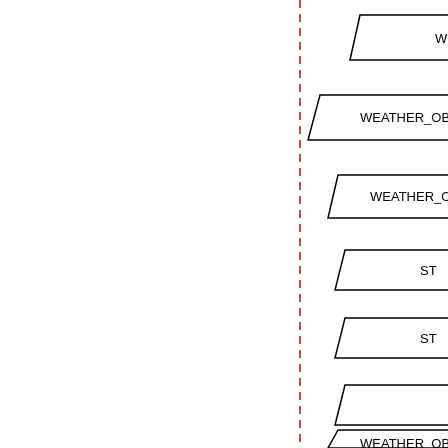[Figure (flowchart): A partial database/entity diagram showing parallelogram-shaped table entities: WEATHER (top right), WEATHER_OBS_STA (second), WEATHER_O (third), ST (fourth), ST (fifth), unlabeled (sixth), WEATHER_OB (seventh). A vertical red dashed line runs near the center of the page.]